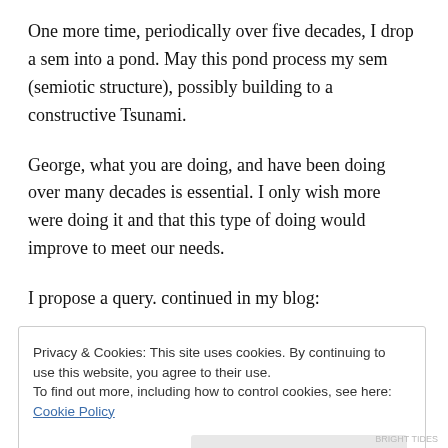One more time, periodically over five decades, I drop a sem into a pond. May this pond process my sem (semiotic structure), possibly building to a constructive Tsunami.
George, what you are doing, and have been doing over many decades is essential. I only wish more were doing it and that this type of doing would improve to meet our needs.
I propose a query. continued in my blog:
Privacy & Cookies: This site uses cookies. By continuing to use this website, you agree to their use. To find out more, including how to control cookies, see here: Cookie Policy
Close and accept